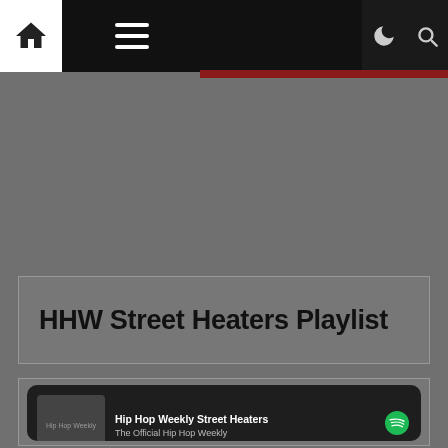HHW Navigation bar with home, menu, dark mode, and search icons
HHW Street Heaters Playlist
[Figure (screenshot): Spotify embedded playlist player showing 'Hip Hop Weekly Street Heaters' by The Official Hip Hop Weekly with playback controls and track listing starting with 'Bother You (feat. Lil Baby)']